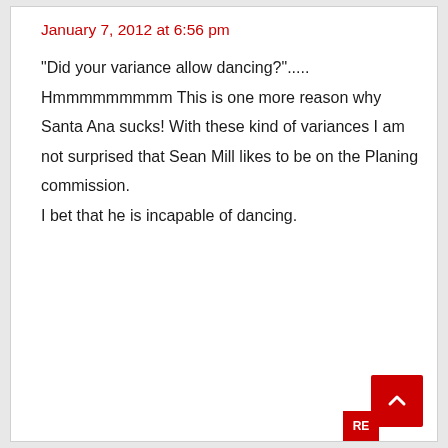January 7, 2012 at 6:56 pm
“Did your variance allow dancing?”..... Hmmmmmmmmm This is one more reason why Santa Ana sucks! With these kind of variances I am not surprised that Sean Mill likes to be on the Planing commission. I bet that he is incapable of dancing.